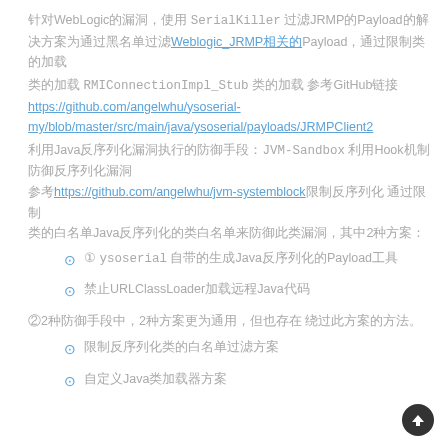针对WebLogic的漏洞，使用 SerialKiller 过滤JRMP的Payload的解决方案为通过黑名单过滤Weblogic_JRMP相关的Payload，通过限制 RMIConnectionImpl_Stub 类的加载 参考GitHub链接 https://github.com/angelwhu/ysoserial-my/blob/master/src/main/java/ysoserial/payloads/JRMPClient2
利用Java反序列化漏洞执行的防御手段： JVM-Sandbox 利用Hook机制防御反序列化漏洞 参考https://github.com/angelwhu/jvm-systemblock限制反序列化 通过限制Java反序列化的类白名单来防御此类漏洞，其中2种方案：
① ysoserial 自带的生成Java反序列化的Payload工具
禁止URLClassLoader加载远程Java代码
②2种防御手段中，2种方案更为通用，但也存在 绕过此方案的方法。
限制反序列化类的白名单过滤方案
自定义Java类加载器方案